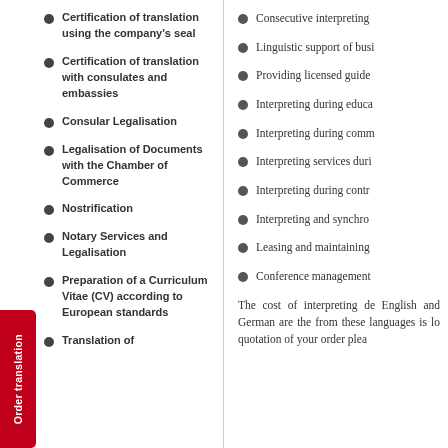Certification of translation using the company's seal
Certification of translation with consulates and embassies
Consular Legalisation
Legalisation of Documents with the Chamber of Commerce
Nostrification
Notary Services and Legalisation
Preparation of a Curriculum Vitae (CV) according to European standards
Translation of…
Consecutive interpreting
Linguistic support of busi…
Providing licensed guide…
Interpreting during educa…
Interpreting during comm…
Interpreting services duri…
Interpreting during contr…
Interpreting and synchro…
Leasing and maintaining…
Conference management…
The cost of interpreting de… English and German are the… from these languages is lo… quotation of your order plea…